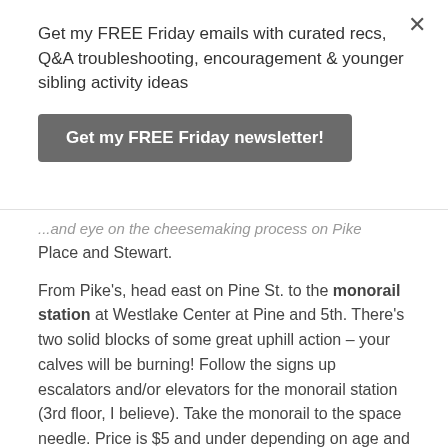Get my FREE Friday emails with curated recs, Q&A troubleshooting, encouragement & younger sibling activity ideas
Get my FREE Friday newsletter!
...and eye on the cheesemaking process on Pike Place and Stewart.
From Pike's, head east on Pine St. to the monorail station at Westlake Center at Pine and 5th. There's two solid blocks of some great uphill action – your calves will be burning! Follow the signs up escalators and/or elevators for the monorail station (3rd floor, I believe). Take the monorail to the space needle. Price is $5 and under depending on age and status for a roundtrip ticket (current fares here). It's a short ride (i.e. 2 minutes, literally), so you could walk the distance if you'd rather.